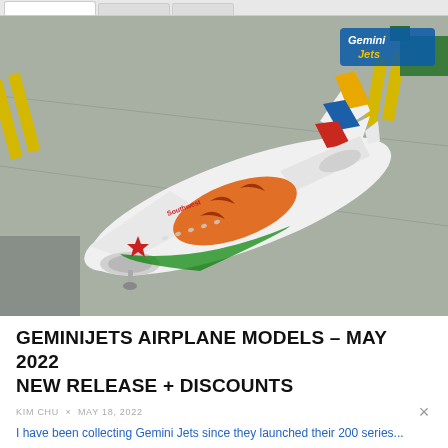[Figure (photo): Photo of a GeminiJets scale model airplane — a Southwest Airlines Boeing 737 with a tiger livery featuring an orange tiger painted on the fuselage, a red star on the nose, and colorful tail stripes (yellow, blue, red). The model is displayed on a simulated airport tarmac with yellow runway markings. A GeminiJets logo is visible in the upper-right corner of the image.]
GEMINIJETS AIRPLANE MODELS – MAY 2022 NEW RELEASE + DISCOUNTS
KIM CHU  ×  MAY 18, 2022
I have been collecting Gemini Jets since they launched their 200 series...